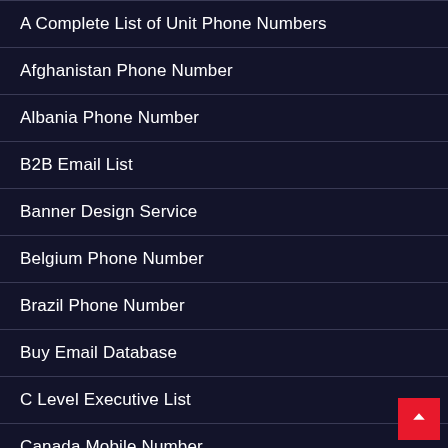A Complete List of Unit Phone Numbers
Afghanistan Phone Number
Albania Phone Number
B2B Email List
Banner Design Service
Belgium Phone Number
Brazil Phone Number
Buy Email Database
C Level Executive List
Canada Mobile Number